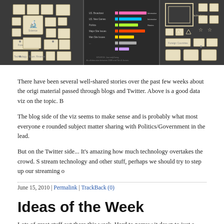[Figure (screenshot): Three-panel dark banner image showing infographic panels with icons and data visualizations on dark backgrounds]
There have been several well-shared stories over the past few weeks about the origi material passed through blogs and Twitter. Above is a good data viz on the topic. B
The blog side of the viz seems to make sense and is probably what most everyone e rounded subject matter sharing with Politics/Government in the lead.
But on the Twitter side... It's amazing how much technology overtakes the crowd. S stream technology and other stuff, perhaps we should try to step up our streaming o
June 15, 2010 | Permalink | TrackBack (0)
Ideas of the Week
Lots of great stuff out there this week. Hard to narrow it down to just a few.
While I'm sure I missed a ton of great stuff, of the creative marketing ideas I did ha